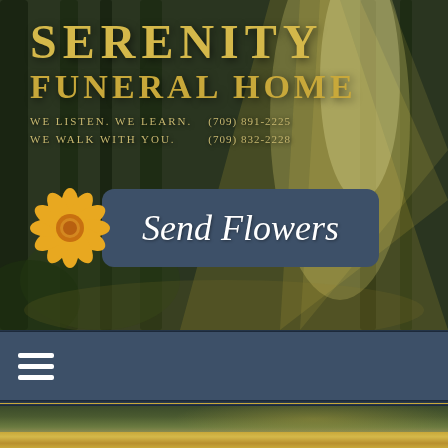[Figure (photo): Background photo of sunlight filtering through trees in a forest, with warm golden light rays. Overlaid with the Serenity Funeral Home branding, tagline, phone numbers, a yellow flower, and a 'Send Flowers' button.]
SERENITY FUNERAL HOME
WE LISTEN. WE LEARN. WE WALK WITH YOU. (709) 891-2225 (709) 832-2228
[Figure (illustration): Yellow daisy flower graphic]
Send Flowers
[Figure (infographic): Navigation bar with hamburger menu icon (three white horizontal lines) on dark slate-blue background]
[Figure (photo): Partial view of forest/tree background below the navigation bar]